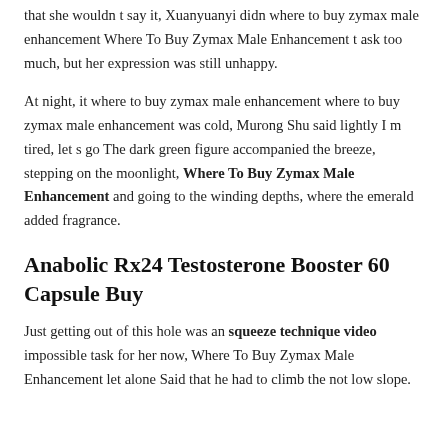that she wouldn t say it, Xuanyuanyi didn where to buy zymax male enhancement Where To Buy Zymax Male Enhancement t ask too much, but her expression was still unhappy.
At night, it where to buy zymax male enhancement where to buy zymax male enhancement was cold, Murong Shu said lightly I m tired, let s go The dark green figure accompanied the breeze, stepping on the moonlight, Where To Buy Zymax Male Enhancement and going to the winding depths, where the emerald added fragrance.
Anabolic Rx24 Testosterone Booster 60 Capsule Buy
Just getting out of this hole was an squeeze technique video impossible task for her now, Where To Buy Zymax Male Enhancement let alone Said that he had to climb the not low slope.